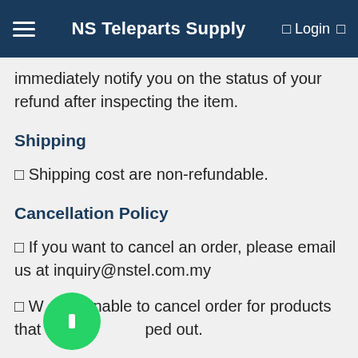NS Teleparts Supply
immediately notify you on the status of your refund after inspecting the item.
Shipping
✓ Shipping cost are non-refundable.
Cancellation Policy
✓ If you want to cancel an order, please email us at inquiry@nstel.com.my
✓ We are unable to cancel order for products that have been shipped out.